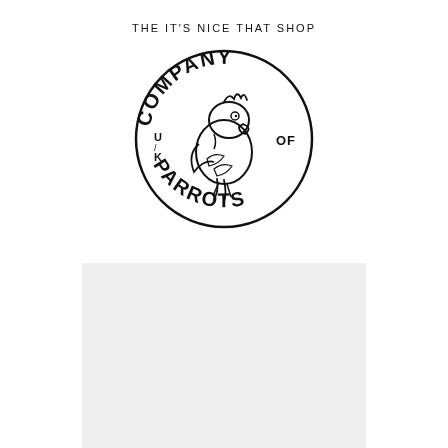THE IT'S NICE THAT SHOP
[Figure (logo): UK Company of Parrots circular logo featuring a cartoon parrot in the center, with bold uppercase text arranged in a circle reading COMPANY OF PARROTS with U/K on the left side]
[Figure (photo): Light gray product image placeholder rectangle]